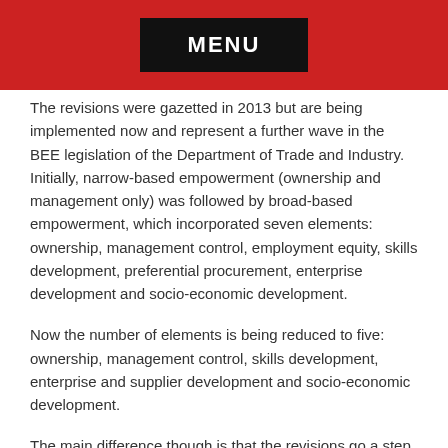MENU
The revisions were gazetted in 2013 but are being implemented now and represent a further wave in the BEE legislation of the Department of Trade and Industry. Initially, narrow-based empowerment (ownership and management only) was followed by broad-based empowerment, which incorporated seven elements: ownership, management control, employment equity, skills development, preferential procurement, enterprise development and socio-economic development.
Now the number of elements is being reduced to five: ownership, management control, skills development, enterprise and supplier development and socio-economic development.
The main difference though is that the revisions go a step further by identifying priority elements on which companies should concentrate: ownership, skills development and enterprise and supplier development. Failure to comply with a 40% sub-minimum in any of these priority elements leads to an automatic reduction of one level in your contribution level.